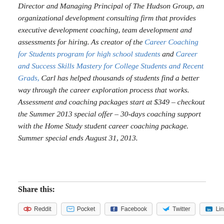Director and Managing Principal of The Hudson Group, an organizational development consulting firm that provides executive development coaching, team development and assessments for hiring. As creator of the Career Coaching for Students program for high school students and Career and Success Skills Mastery for College Students and Recent Grads, Carl has helped thousands of students find a better way through the career exploration process that works. Assessment and coaching packages start at $349 – checkout the Summer 2013 special offer – 30-days coaching support with the Home Study student career coaching package. Summer special ends August 31, 2013.
Share this: